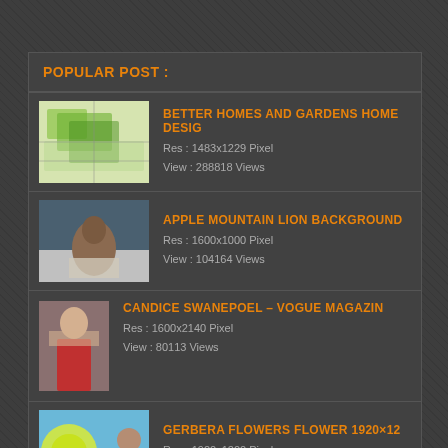POPULAR POST :
BETTER HOMES AND GARDENS HOME DESIG
Res : 1483x1229 Pixel
View : 288818 Views
APPLE MOUNTAIN LION BACKGROUND
Res : 1600x1000 Pixel
View : 104164 Views
CANDICE SWANEPOEL – VOGUE MAGAZIN
Res : 1600x2140 Pixel
View : 80113 Views
GERBERA FLOWERS FLOWER 1920×12
Res : 1920x1200 Pixel
View : 57777 Views
MISCHA BARTON 1920×1080 WALLPA
Res : 1920x1080 Pixel
View : 57518 Views
CUTE BABY BABY GIRL CUTE SMILING G